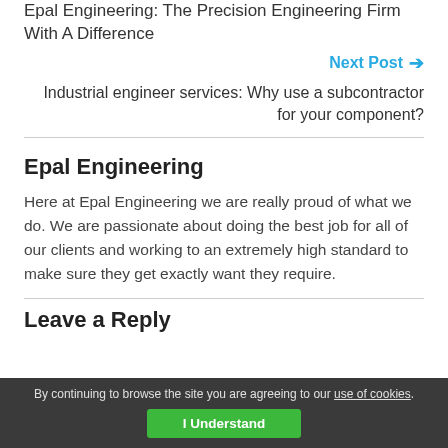Epal Engineering: The Precision Engineering Firm With A Difference
Next Post →
Industrial engineer services: Why use a subcontractor for your component?
Epal Engineering
Here at Epal Engineering we are really proud of what we do. We are passionate about doing the best job for all of our clients and working to an extremely high standard to make sure they get exactly want they require.
Leave a Reply
By continuing to browse the site you are agreeing to our use of cookies. I Understand